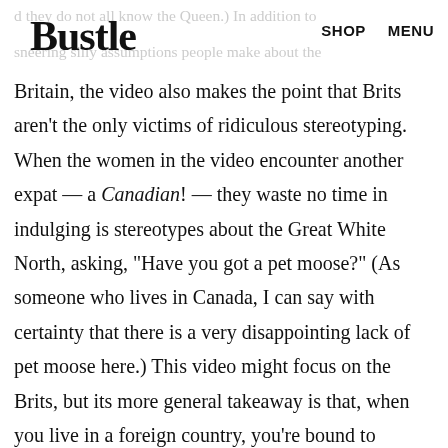Bustle  SHOP  MENU
Britain, the video also makes the point that Brits aren't the only victims of ridiculous stereotyping. When the women in the video encounter another expat — a Canadian! — they waste no time in indulging is stereotypes about the Great White North, asking, "Have you got a pet moose?" (As someone who lives in Canada, I can say with certainty that there is a very disappointing lack of pet moose here.) This video might focus on the Brits, but its more general takeaway is that, when you live in a foreign country, you're bound to encounter a lot of stereotypes about where you grew up, wherever that may have been. (More on amazon about this next. I can say in